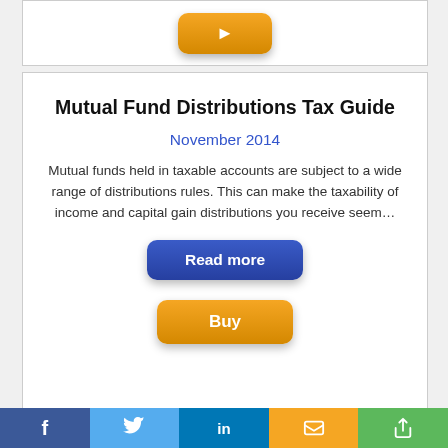[Figure (screenshot): Top card with an orange Buy button visible at top]
Mutual Fund Distributions Tax Guide
November 2014
Mutual funds held in taxable accounts are subject to a wide range of distributions rules. This can make the taxability of income and capital gain distributions you receive seem...
Read more
Buy
[Figure (photo): Partial view of a document/form with handwritten text: 'therein expressed, and that I execute it as my no constraint or undue influence']
f  [Twitter bird icon]  in  [SMS icon]  [Share icon]